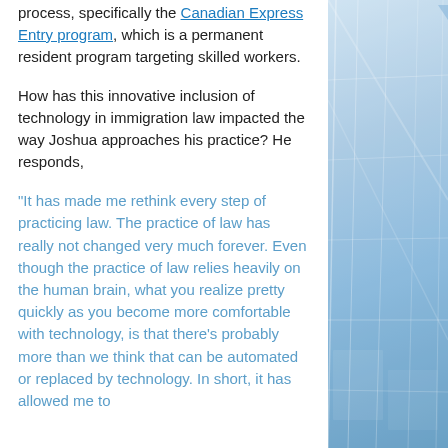process, specifically the Canadian Express Entry program, which is a permanent resident program targeting skilled workers.
How has this innovative inclusion of technology in immigration law impacted the way Joshua approaches his practice? He responds,
"It has made me rethink every step of practicing law. The practice of law has really not changed very much forever. Even though the practice of law relies heavily on the human brain, what you realize pretty quickly as you become more comfortable with technology, is that there's probably more than we think that can be automated or replaced by technology. In short, it has allowed me to
[Figure (photo): Blue-tinted architectural photo of glass building panels/windows on the right side of the page]